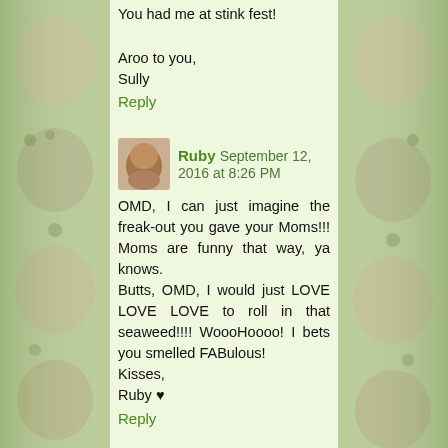You had me at stink fest!

Aroo to you,
Sully
Reply
Ruby  September 12, 2016 at 8:26 PM
OMD, I can just imagine the freak-out you gave your Moms!!! Moms are funny that way, ya knows.
Butts, OMD, I would just LOVE LOVE LOVE to roll in that seaweed!!!! WoooHoooo! I bets you smelled FABulous!
Kisses,
Ruby ♥
Reply
Yamini MacLean  September 12, 2016 at 8:50 PM
Hari OM
That contented look on your face after roaching the weed is priceless!!! Meanwhile, mum did a great job on the ship-